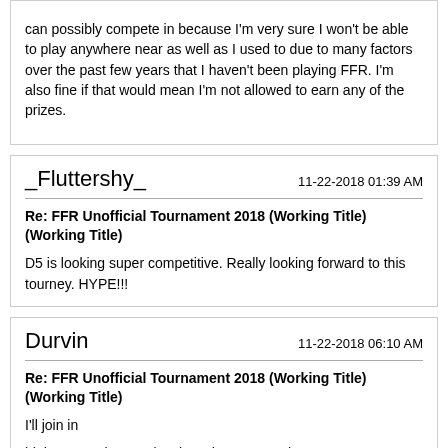can possibly compete in because I'm very sure I won't be able to play anywhere near as well as I used to due to many factors over the past few years that I haven't been playing FFR. I'm also fine if that would mean I'm not allowed to earn any of the prizes.
_Fluttershy_   11-22-2018 01:39 AM
Re: FFR Unofficial Tournament 2018 (Working Title) (Working Title)
D5 is looking super competitive. Really looking forward to this tourney. HYPE!!!
Durvin   11-22-2018 06:10 AM
Re: FFR Unofficial Tournament 2018 (Working Title) (Working Title)
I'll join in
highest AAA is 20 points less than my PB tho, oops :D
2Sweet4me   11-22-2018 09:34 AM
Re: FFR Unofficial Tournament 2018 (Working Title) (Working